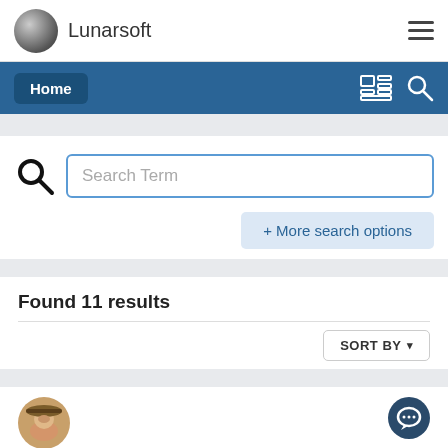Lunarsoft
Home
Search Term
+ More search options
Found 11 results
SORT BY▼